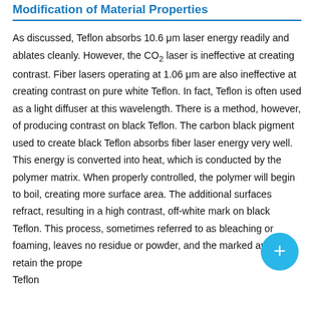Modification of Material Properties
As discussed, Teflon absorbs 10.6 μm laser energy readily and ablates cleanly. However, the CO₂ laser is ineffective at creating contrast. Fiber lasers operating at 1.06 μm are also ineffective at creating contrast on pure white Teflon. In fact, Teflon is often used as a light diffuser at this wavelength. There is a method, however, of producing contrast on black Teflon. The carbon black pigment used to create black Teflon absorbs fiber laser energy very well. This energy is converted into heat, which is conducted by the polymer matrix. When properly controlled, the polymer will begin to boil, creating more surface area. The additional surfaces refract, resulting in a high contrast, off-white mark on black Teflon. This process, sometimes referred to as bleaching or foaming, leaves no residue or powder, and the marked areas retain the properties of Teflon.